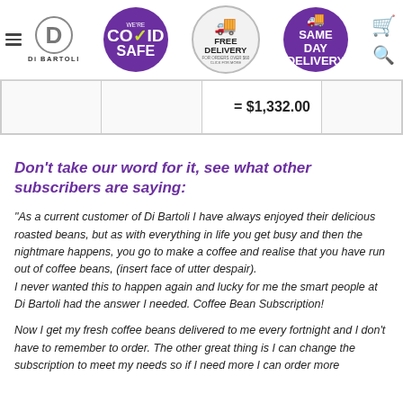[Figure (logo): Di Bartoli logo with hamburger menu, COVID Safe badge, Free Delivery badge, Same Day Delivery badge, cart and search icons]
|  |  | = $1,332.00 |  |
Don't take our word for it, see what other subscribers are saying:
"As a current customer of Di Bartoli I have always enjoyed their delicious roasted beans, but as with everything in life you get busy and then the nightmare happens, you go to make a coffee and realise that you have run out of coffee beans, (insert face of utter despair). I never wanted this to happen again and lucky for me the smart people at Di Bartoli had the answer I needed. Coffee Bean Subscription!
Now I get my fresh coffee beans delivered to me every fortnight and I don't have to remember to order. The other great thing is I can change the subscription to meet my needs so if I need more I can order more